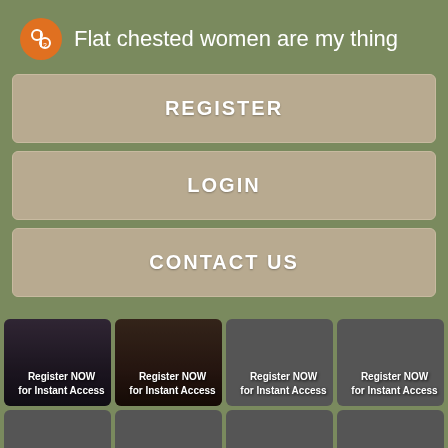Flat chested women are my thing
REGISTER
LOGIN
CONTACT US
[Figure (screenshot): Grid of 8 profile image tiles each labeled 'Register NOW for Instant Access']